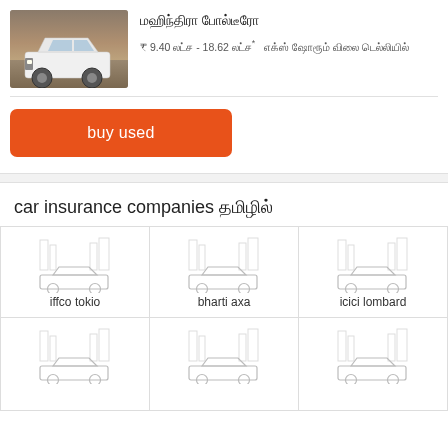[Figure (photo): White SUV car photo on dusty terrain background]
மஹிந்திரா போல்டீரோ
₹ 9.40 லட்ச - 18.62 லட்ச* எக்ஸ் ஷோரூம் விலை டெல்லியில்
buy used
car insurance companies தமிழில்
[Figure (illustration): Car insurance company logo tile - iffco tokio with car illustration]
[Figure (illustration): Car insurance company logo tile - bharti axa with car illustration]
[Figure (illustration): Car insurance company logo tile - icici lombard with car illustration]
[Figure (illustration): Car insurance company logo tile - bottom row left with car illustration]
[Figure (illustration): Car insurance company logo tile - bottom row middle with car illustration]
[Figure (illustration): Car insurance company logo tile - bottom row right with car illustration]